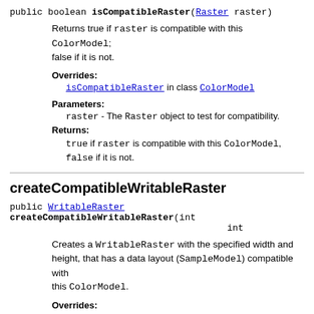public boolean isCompatibleRaster(Raster raster)
Returns true if raster is compatible with this ColorModel; false if it is not.
Overrides:
isCompatibleRaster in class ColorModel
Parameters:
raster - The Raster object to test for compatibility.
Returns:
true if raster is compatible with this ColorModel, false if it is not.
createCompatibleWritableRaster
public WritableRaster createCompatibleWritableRaster(int int
Creates a WritableRaster with the specified width and height, that has a data layout (SampleModel) compatible with this ColorModel.
Overrides: